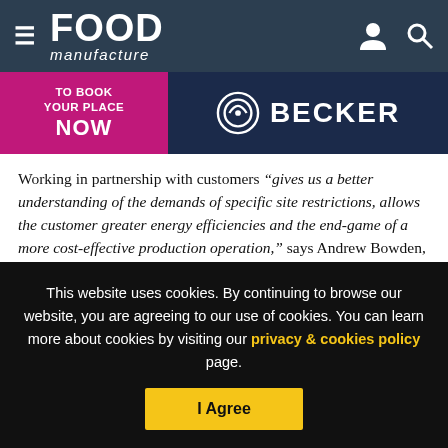Food Manufacture
[Figure (other): Food Manufacture website header with hamburger menu, logo, user icon and search icon]
[Figure (other): Advertisement banner: pink section 'TO BOOK YOUR PLACE NOW' and dark blue section with Becker logo]
Working in partnership with customers “gives us a better understanding of the demands of specific site restrictions, allows the customer greater energy efficiencies and the end-game of a more cost-effective production operation,” says Andrew Bowden, managing director at J&E Hall.
“It is crucial that food processors give themselves an edge by
This website uses cookies. By continuing to browse our website, you are agreeing to our use of cookies. You can learn more about cookies by visiting our privacy & cookies policy page.